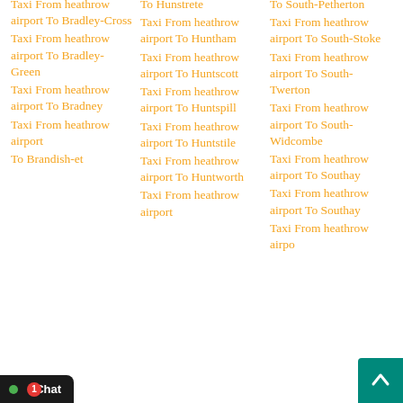Taxi From heathrow airport To Bradley-Cross
Taxi From heathrow airport To Bradley-Green
Taxi From heathrow airport To Bradney
Taxi From heathrow airport To Brandish-et
Taxi From heathrow airport To Hunstrete
Taxi From heathrow airport To Huntham
Taxi From heathrow airport To Huntscott
Taxi From heathrow airport To Huntspill
Taxi From heathrow airport To Huntstile
Taxi From heathrow airport To Huntworth
Taxi From heathrow airport To South-Petherton
Taxi From heathrow airport To South-Stoke
Taxi From heathrow airport To South-Twerton
Taxi From heathrow airport To South-Widcombe
Taxi From heathrow airport To Southay
Hello there! Good Day! We have Hidden offers on most of our routes, interested to know what lies on...
Chat